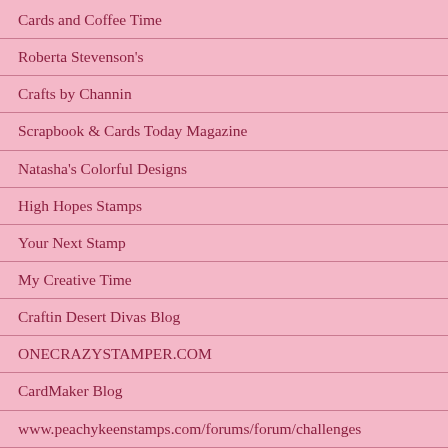Cards and Coffee Time
Roberta Stevenson's
Crafts by Channin
Scrapbook & Cards Today Magazine
Natasha's Colorful Designs
High Hopes Stamps
Your Next Stamp
My Creative Time
Craftin Desert Divas Blog
ONECRAZYSTAMPER.COM
CardMaker Blog
www.peachykeenstamps.com/forums/forum/challenges